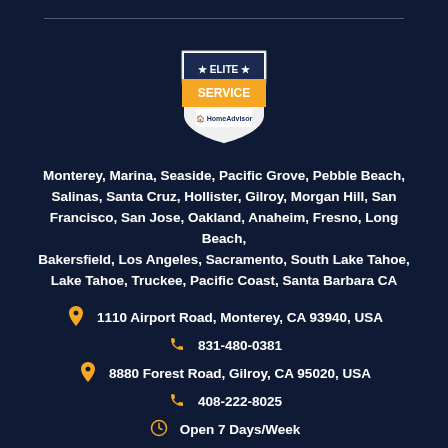[Figure (logo): HomeAdvisor Elite Service badge - shield shape with orange banner reading SERVICE, dark top section reading ELITE with stars, HomeAdvisor branding at bottom]
Monterey, Marina, Seaside, Pacific Grove, Pebble Beach, Salinas, Santa Cruz, Hollister, Gilroy, Morgan Hill, San Francisco, San Jose, Oakland, Anaheim, Fresno, Long Beach, Bakersfield, Los Angeles, Sacramento, South Lake Tahoe, Lake Tahoe, Truckee, Pacific Coast, Santa Barbara CA
1110 Airport Road, Monterey, CA 93940, USA
831-480-0381
8880 Forest Road, Gilroy, CA 95020, USA
408-222-8025
Open 7 Days/Week